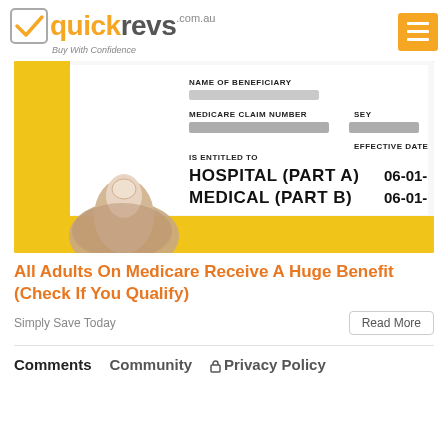[Figure (logo): quickrevs.com.au logo with orange checkmark and tagline 'Buy With Confidence']
[Figure (photo): Hand holding a Medicare card showing fields: NAME OF BENEFICIARY (blurred), MEDICARE CLAIM NUMBER (blurred), SEY (blurred), IS ENTITLED TO, HOSPITAL (PART A) 06-01-?, MEDICAL (PART B) 06-01-?, EFFECTIVE DATE. Card is white with yellow envelope visible around it.]
All Adults On Medicare Receive A Huge Benefit (Check If You Qualify)
Simply Save Today
Read More
Comments   Community   Privacy Policy